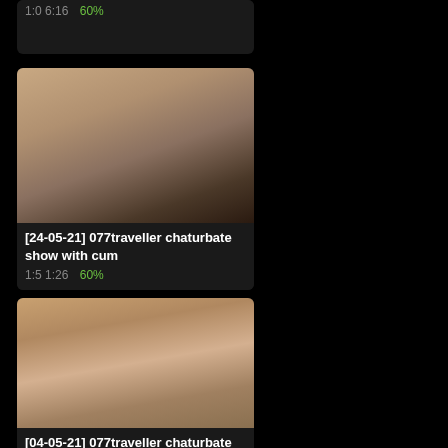1:06:16  60%
[Figure (photo): Video thumbnail showing adult content]
[24-05-21] 077traveller chaturbate show with cum
1:51:26  60%
[Figure (photo): Video thumbnail showing adult content]
[04-05-21] 077traveller chaturbate show with toys